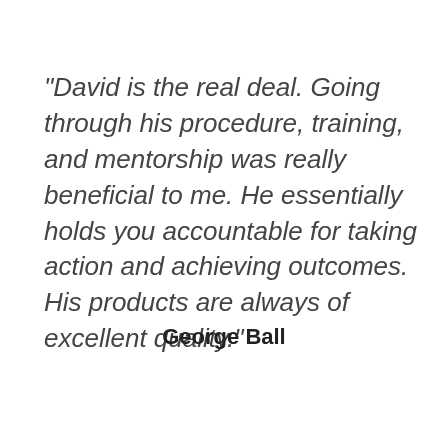"David is the real deal. Going through his procedure, training, and mentorship was really beneficial to me. He essentially holds you accountable for taking action and achieving outcomes. His products are always of excellent quality."
George Ball